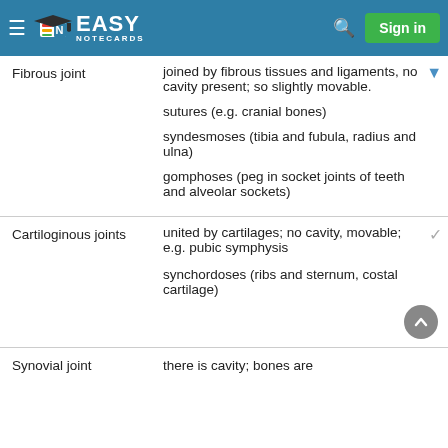Easy Notecards — Sign in
| Term | Definition |
| --- | --- |
| Fibrous joint | joined by fibrous tissues and ligaments, no cavity present; so slightly movable.
sutures (e.g. cranial bones)
syndesmoses (tibia and fubula, radius and ulna)
gomphoses (peg in socket joints of teeth and alveolar sockets) |
| Cartiloginous joints | united by cartilages; no cavity, movable; e.g. pubic symphysis
synchordoses (ribs and sternum, costal cartilage) |
| Synovial joint | there is cavity; bones are... |